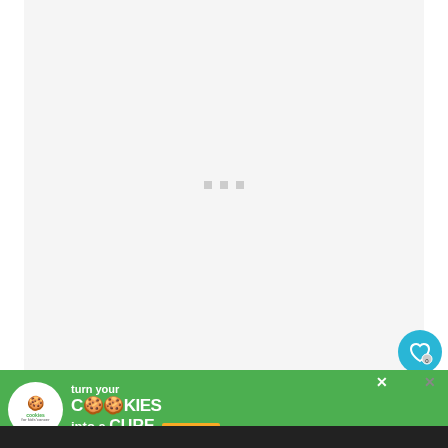[Figure (other): Large empty/loading image placeholder area with light gray background and three small gray loading indicator squares in the center]
When trying to classify maple syrups according to their grading system, you should kn...
[Figure (other): Advertisement banner: cookies for kids cancer - turn your cookies into a cure, learn how]
[Figure (other): Social UI buttons: heart/save button and share button in teal circles on right side]